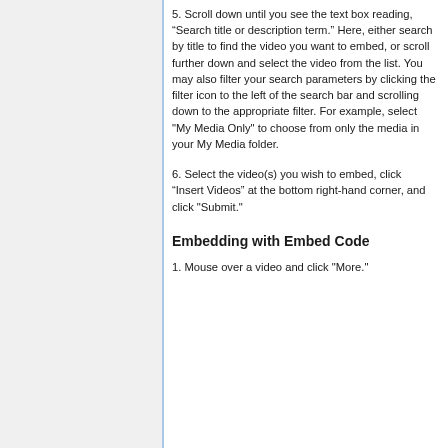5. Scroll down until you see the text box reading, “Search title or description term.” Here, either search by title to find the video you want to embed, or scroll further down and select the video from the list. You may also filter your search parameters by clicking the filter icon to the left of the search bar and scrolling down to the appropriate filter. For example, select "My Media Only" to choose from only the media in your My Media folder.
6. Select the video(s) you wish to embed, click “Insert Videos” at the bottom right-hand corner, and click "Submit."
Embedding with Embed Code
1. Mouse over a video and click "More."